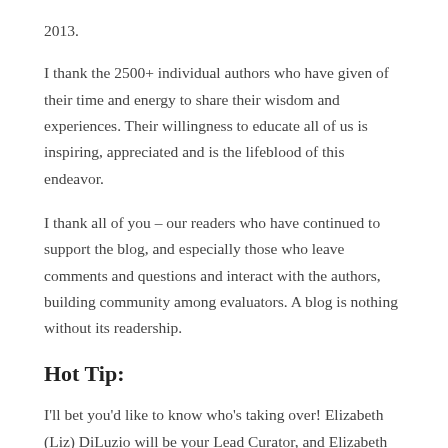2013.
I thank the 2500+ individual authors who have given of their time and energy to share their wisdom and experiences. Their willingness to educate all of us is inspiring, appreciated and is the lifeblood of this endeavor.
I thank all of you – our readers who have continued to support the blog, and especially those who leave comments and questions and interact with the authors, building community among evaluators. A blog is nothing without its readership.
Hot Tip:
I’ll bet you’d like to know who’s taking over! Elizabeth (Liz) DiLuzio will be your Lead Curator, and Elizabeth Grim will be taking over Liz’s role as volunteer curator. I could never leave this post without leaving it in good hands, and I’m confident Liz and Elizabeth will